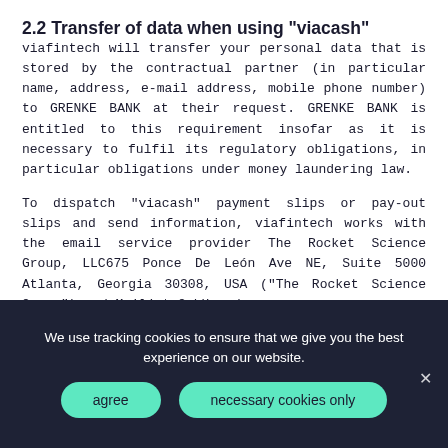2.2 Transfer of data when using "viacash"
viafintech will transfer your personal data that is stored by the contractual partner (in particular name, address, e-mail address, mobile phone number) to GRENKE BANK at their request. GRENKE BANK is entitled to this requirement insofar as it is necessary to fulfil its regulatory obligations, in particular obligations under money laundering law.
To dispatch "viacash" payment slips or pay-out slips and send information, viafintech works with the email service provider The Rocket Science Group, LLC675 Ponce De León Ave NE, Suite 5000 Atlanta, Georgia 30308, USA ("The Rocket Science Group") and Mailjet GmbH, c/o
We use tracking cookies to ensure that we give you the best experience on our website.